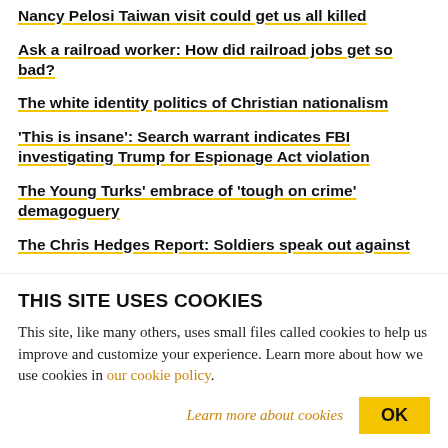Nancy Pelosi Taiwan visit could get us all killed
Ask a railroad worker: How did railroad jobs get so bad?
The white identity politics of Christian nationalism
'This is insane': Search warrant indicates FBI investigating Trump for Espionage Act violation
The Young Turks' embrace of 'tough on crime' demagoguery
The Chris Hedges Report: Soldiers speak out against
THIS SITE USES COOKIES
This site, like many others, uses small files called cookies to help us improve and customize your experience. Learn more about how we use cookies in our cookie policy.
Learn more about cookies
OK